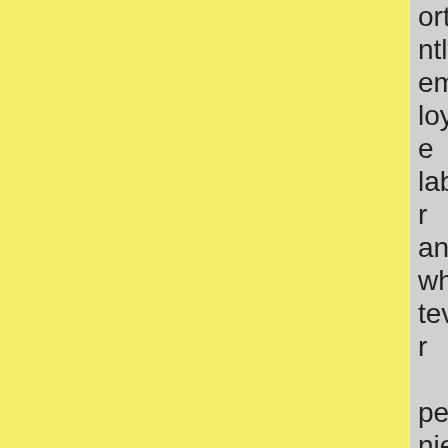ortantly employee labor and whatever pennies the pop costs and boom, they're losi